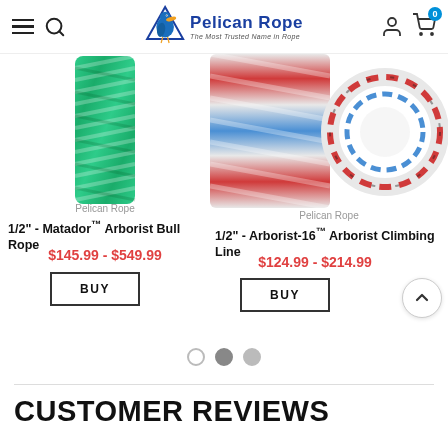Pelican Rope — The Most Trusted Name in Rope
[Figure (photo): Green braided arborist bull rope product image]
Pelican Rope
1/2" - Matador™ Arborist Bull Rope
$145.99 - $549.99
BUY
[Figure (photo): Red, white and blue braided arborist climbing line rope product image]
Pelican Rope
1/2" - Arborist-16™ Arborist Climbing Line
$124.99 - $214.99
BUY
CUSTOMER REVIEWS